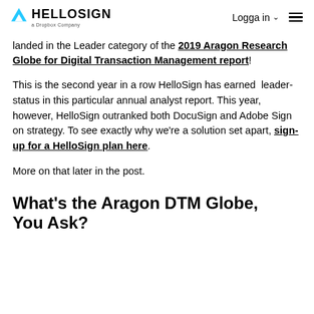HELLOSIGN a Dropbox Company | Logga in | menu
landed in the Leader category of the 2019 Aragon Research Globe for Digital Transaction Management report!
This is the second year in a row HelloSign has earned  leader-status in this particular annual analyst report. This year, however, HelloSign outranked both DocuSign and Adobe Sign on strategy. To see exactly why we're a solution set apart, sign-up for a HelloSign plan here.
More on that later in the post.
What's the Aragon DTM Globe, You Ask?